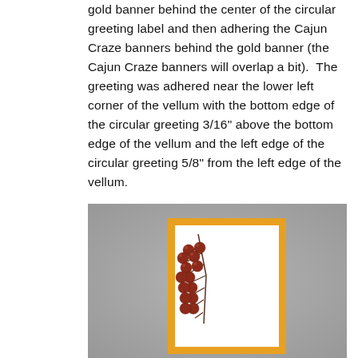gold banner behind the center of the circular greeting label and then adhering the Cajun Craze banners behind the gold banner (the Cajun Craze banners will overlap a bit).  The greeting was adhered near the lower left corner of the vellum with the bottom edge of the circular greeting 3/16" above the bottom edge of the vellum and the left edge of the circular greeting 5/8" from the left edge of the vellum.
[Figure (photo): A photo of a handmade greeting card with a yellow/gold border and white interior, featuring a stamped or illustrated red/brown berry branch in the upper left area of the card. The card is propped upright on a gray surface.]